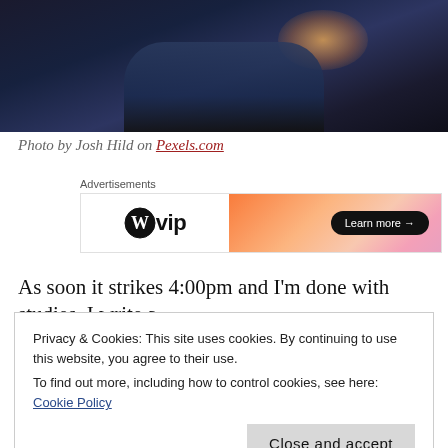[Figure (photo): Dark atmospheric photo of a person lying down, with warm orange glowing light above, shot in low-light setting]
Photo by Josh Hild on Pexels.com
[Figure (infographic): WordPress VIP advertisement banner with orange gradient and Learn more button]
As soon it strikes 4:00pm and I'm done with studies, I write a
Privacy & Cookies: This site uses cookies. By continuing to use this website, you agree to their use. To find out more, including how to control cookies, see here: Cookie Policy
Close and accept